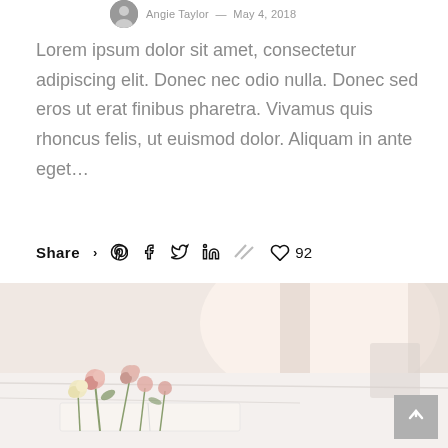Angie Taylor — May 4, 2018
Lorem ipsum dolor sit amet, consectetur adipiscing elit. Donec nec odio nulla. Donec sed eros ut erat finibus pharetra. Vivamus quis rhoncus felis, ut euismod dolor. Aliquam in ante eget...
Share > Pinterest Facebook Twitter LinkedIn // ♡ 92
[Figure (photo): Photo of flowers (pink and white) on a white bed with an open book, soft natural light from window curtains in background]